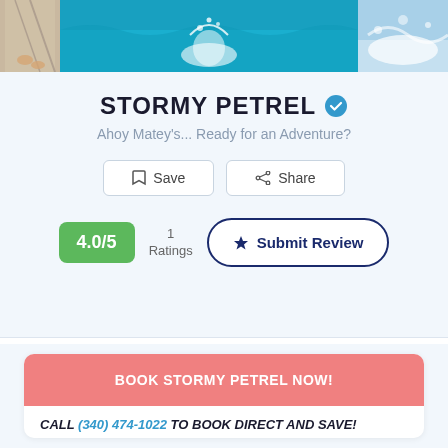[Figure (photo): Photo strip at top showing boat deck with person's feet, turquoise ocean water with wave splash, and ocean spray on right]
STORMY PETREL
Ahoy Matey's... Ready for an Adventure?
Save | Share
4.0/5  1 Ratings  Submit Review
BOOK STORMY PETREL NOW!
CALL (340) 474-1022 TO BOOK DIRECT AND SAVE!